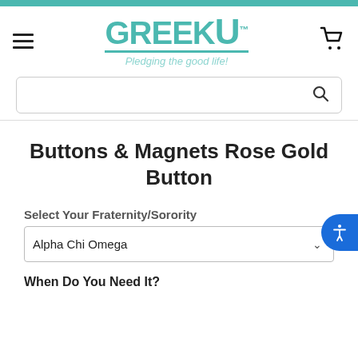GreekU - Pledging the good life!
Buttons & Magnets Rose Gold Button
Select Your Fraternity/Sorority
Alpha Chi Omega
When Do You Need It?